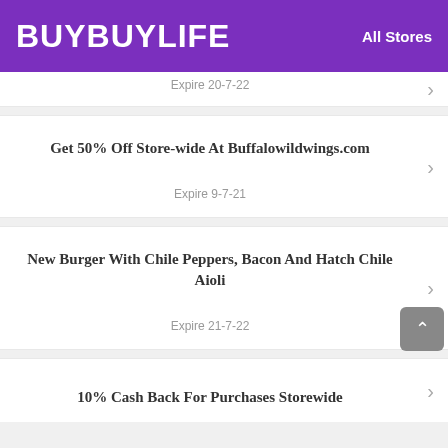BUYBUYLIFE  All Stores
Expire 20-7-22
Get 50% Off Store-wide At Buffalowildwings.com
Expire 9-7-21
New Burger With Chile Peppers, Bacon And Hatch Chile Aioli
Expire 21-7-22
10% Cash Back For Purchases Storewide